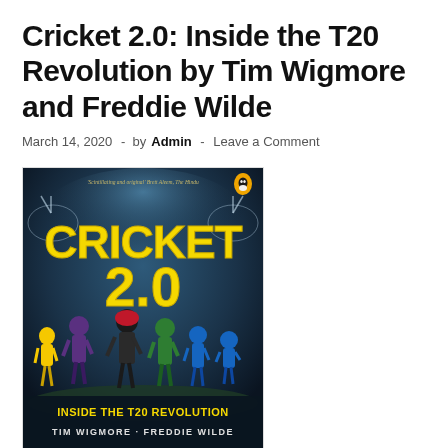Cricket 2.0: Inside the T20 Revolution by Tim Wigmore and Freddie Wilde
March 14, 2020  -  by Admin  -  Leave a Comment
[Figure (photo): Book cover of Cricket 2.0: Inside the T20 Revolution by Tim Wigmore and Freddie Wilde. Dark stadium background with large yellow text 'CRICKET 2.0', subtitle 'INSIDE THE T20 REVOLUTION', authors 'TIM WIGMORE · FREDDIE WILDE', and multiple cricket players in colorful uniforms. Penguin logo in top right.]